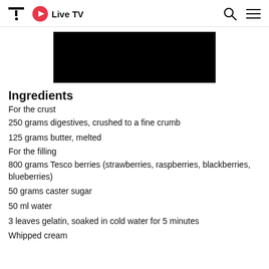Live TV
[Figure (photo): Black rectangle image placeholder]
Ingredients
For the crust
250 grams digestives, crushed to a fine crumb
125 grams butter, melted
For the filling
800 grams Tesco berries (strawberries, raspberries, blackberries, blueberries)
50 grams caster sugar
50 ml water
3 leaves gelatin, soaked in cold water for 5 minutes
Whipped cream